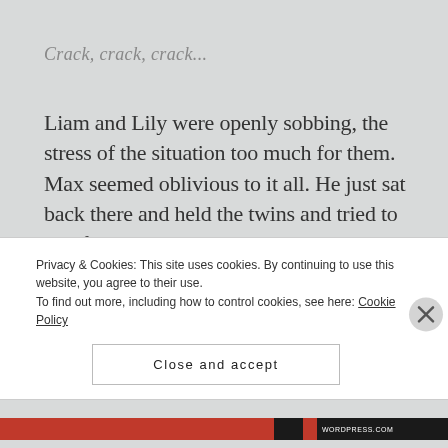Crack, crack, crack...
Liam and Lily were openly sobbing, the stress of the situation too much for them. Max seemed oblivious to it all. He just sat back there and held the twins and tried to comfort them as best as he could. With a tiny ping, the first piece if the windshield popped inward. I was stunned, to say the least. I had always thought that windshields were treated with a
Privacy & Cookies: This site uses cookies. By continuing to use this website, you agree to their use.
To find out more, including how to control cookies, see here: Cookie Policy
Close and accept